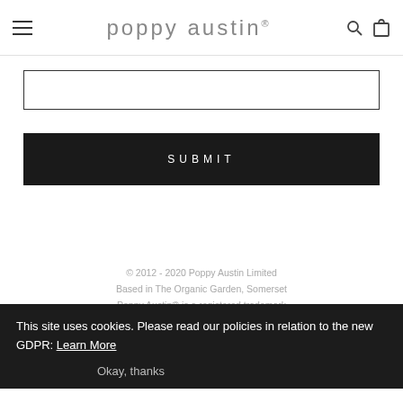poppy austin®
[Figure (other): Text input search box with border]
[Figure (other): Dark submit button with text SUBMIT]
© 2012 - 2020 Poppy Austin Limited
Based in The Organic Garden, Somerset
Poppy Austin® is a registered trademark
This site uses cookies. Please read our policies in relation to the new GDPR: Learn More
Okay, thanks